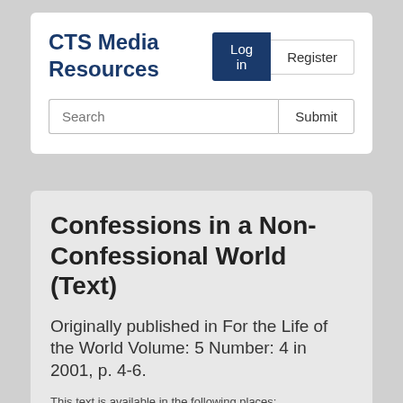CTS Media Resources
Log in
Register
Search
Submit
Confessions in a Non-Confessional World (Text)
Originally published in For the Life of the World Volume: 5 Number: 4 in 2001, p. 4-6.
This text is available in the following places: